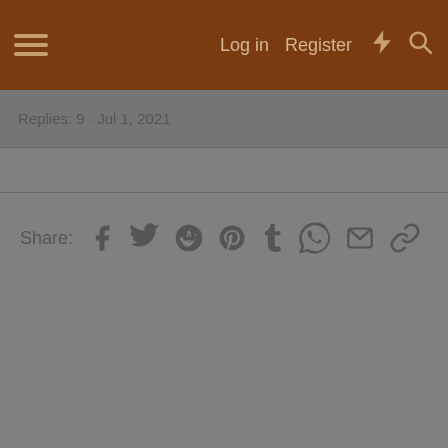≡  Log in  Register
Replies: 9 · Jul 1, 2021
Share:  [Facebook] [Twitter] [Reddit] [Pinterest] [Tumblr] [WhatsApp] [Email] [Link]